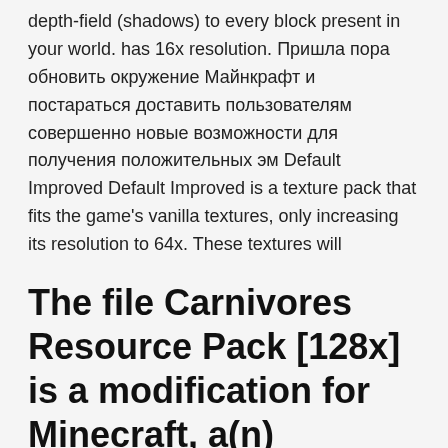depth-field (shadows) to every block present in your world. has 16x resolution. Пришла пора обновить окружение Майнкрафт и постараться доставить пользователям совершенно новые возможности для получения положительных эм Default Improved Default Improved is a texture pack that fits the game's vanilla textures, only increasing its resolution to 64x. These textures will
The file Carnivores Resource Pack [128x] is a modification for Minecraft, a(n) adventure game.
This pack has emerged out to be one of the most popular textures for Minecraft. For anyone who search for a higher resolution default minecraft, Default 32×32 Resource Pack is just what you need! Click here and download Faithful 32x 1.14.2